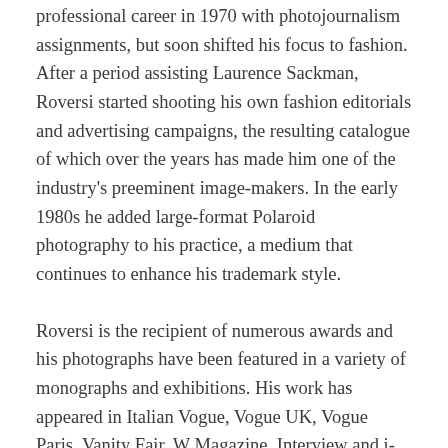professional career in 1970 with photojournalism assignments, but soon shifted his focus to fashion. After a period assisting Laurence Sackman, Roversi started shooting his own fashion editorials and advertising campaigns, the resulting catalogue of which over the years has made him one of the industry's preeminent image-makers. In the early 1980s he added large-format Polaroid photography to his practice, a medium that continues to enhance his trademark style.
Roversi is the recipient of numerous awards and his photographs have been featured in a variety of monographs and exhibitions. His work has appeared in Italian Vogue, Vogue UK, Vogue Paris, Vanity Fair, W Magazine, Interview and i-D. He has created campaigns for Dior, Cerruti, Comme des Garçons, Yves Saint Laurent, Valentino and Alberta Ferreti.